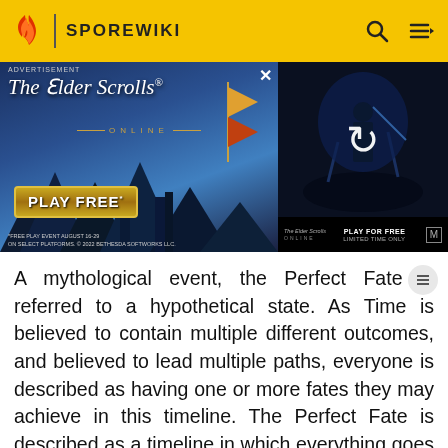SPOREWIKI
[Figure (photo): Advertisement for The Elder Scrolls Online. Left panel shows fantasy battle scene with text 'The Elder Scrolls Online', 'PLAY FREE*', and fine print. Right panel shows dark fantasy character scene with a reload icon and 'PLAY FOR FREE LIMITED TIME ONLY'.]
A mythological event, the Perfect Fate is referred to a hypothetical state. As Time is believed to contain multiple different outcomes, and believed to lead multiple paths, everyone is described as having one or more fates they may achieve in this timeline. The Perfect Fate is described as a timeline in which everything goes perfectly for everyone, with universe peace and tolerance achieved. Core Blyronist